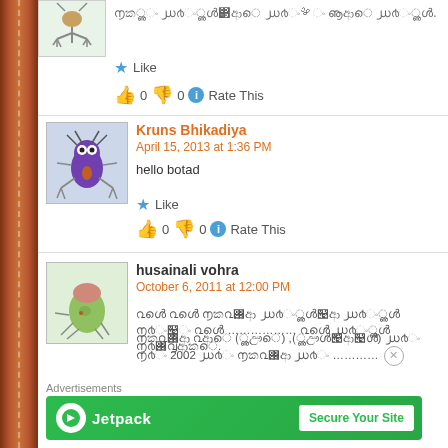[Figure (illustration): Small cartoon insect avatar at top left]
[Gujarati text] - comment text in Gujarati script
Like  👍 0  👎 0  ℹ Rate This
[Figure (illustration): Purple cartoon bug avatar for Kruns Bhikadiya]
Kruns Bhikadiya
April 15, 2013 at 1:36 PM
hello botad
Like  👍 0  👎 0  ℹ Rate This
[Figure (illustration): Green pear-shaped cartoon character avatar for husainali vohra]
husainali vohra
October 6, 2011 at 12:00 PM
[Gujarati text] ………………[Gujarati text]
[Gujarati text] (botad),(Bhavnagar) [Gujarati] 2002 [Gujarati] ………
Advertisements
[Figure (infographic): Jetpack advertisement banner - green background with Jetpack logo and Secure Your Site button]